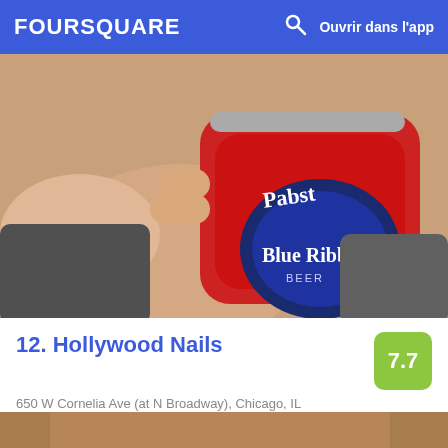FOURSQUARE  Ouvrir dans l'app
[Figure (photo): Person holding a Pabst Blue Ribbon beer can]
12. Hollywood Nails
650 W Cornelia Ave (at N Broadway), Chicago, IL
Salon de manucure · Lake View East · 15 conseils et avis
Jessica Six: It's byob and a family run place.
[Figure (photo): Partial bottom photo strip, warm tones]